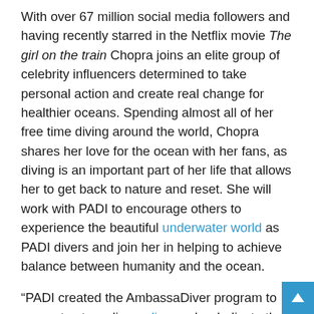With over 67 million social media followers and having recently starred in the Netflix movie The girl on the train Chopra joins an elite group of celebrity influencers determined to take personal action and create real change for healthier oceans. Spending almost all of her free time diving around the world, Chopra shares her love for the ocean with her fans, as diving is an important part of her life that allows her to get back to nature and reset. She will work with PADI to encourage others to experience the beautiful underwater world as PADI divers and join her in helping to achieve balance between humanity and the ocean.
“PADI created the AmbassaDiver program to support extraordinary divers who dedicate their lives to illuminating the path from curiosity, exploration and discovery to understanding, stewardship and action. Ms. Chopra plays a very important role in ocean conservation, lighting the way for others to become divers themselves and mobilizing communities around the world to seek adventure and save the ocean with it,” continues